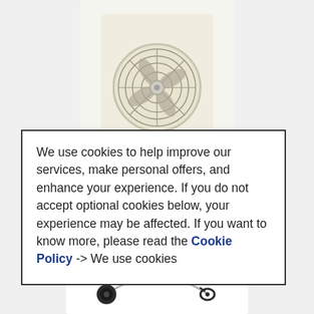[Figure (photo): A circular box fan or window fan with white/beige housing and metallic fan blades visible through the grille, shown from the front]
We use cookies to help improve our services, make personal offers, and enhance your experience. If you do not accept optional cookies below, your experience may be affected. If you want to know more, please read the Cookie Policy -> We use cookies
[Figure (photo): A small green rectangular button or banner element]
[Figure (photo): A wire-style earphone or earbud with a curved wire connecting two ear pieces, shown on white background]